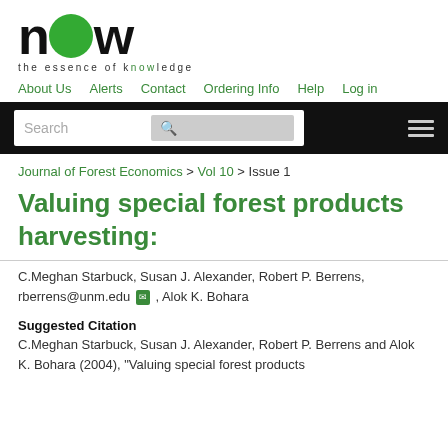[Figure (logo): NOW Publishers logo with large bold 'now' text where the 'o' contains a green filled circle, and tagline 'the essence of knowledge' below]
About Us   Alerts   Contact   Ordering Info   Help   Log in
Search
Journal of Forest Economics > Vol 10 > Issue 1
Valuing special forest products harvesting:
C.Meghan Starbuck, Susan J. Alexander, Robert P. Berrens, rberrens@unm.edu , Alok K. Bohara
Suggested Citation
C.Meghan Starbuck, Susan J. Alexander, Robert P. Berrens and Alok K. Bohara (2004), "Valuing special forest products